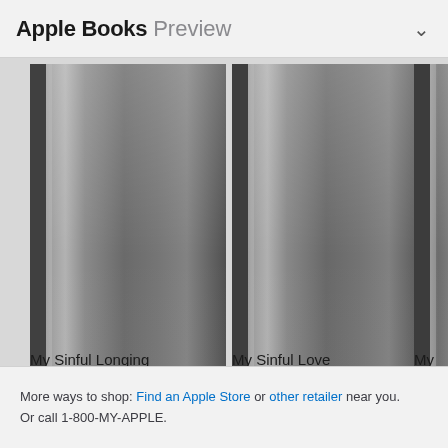Apple Books Preview
[Figure (illustration): Three book covers displayed horizontally. Left: a gray gradient book cover for 'My Sinful Longing' (2015). Center: a gray gradient book cover for 'My Sinful Love' (2016). Right: a partially visible gray gradient book cover for a third title starting with 'My' (201x).]
My Sinful Longing
2015
My Sinful Love
2016
My
201
More ways to shop: Find an Apple Store or other retailer near you.
Or call 1-800-MY-APPLE.